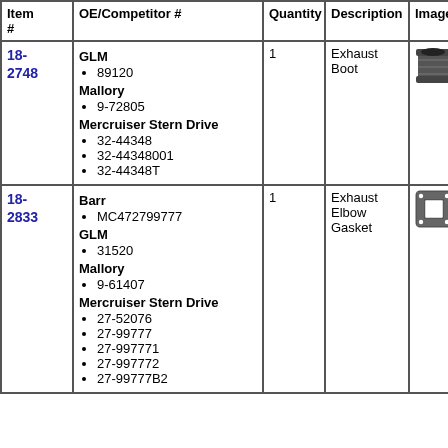| Item # | OE/Competitor # | Quantity | Description | Image |
| --- | --- | --- | --- | --- |
| 18-2748 | GLM
• 89120
Mallory
• 9-72805
Mercruiser Stern Drive
• 32-44348
• 32-44348001
• 32-44348T | 1 | Exhaust Boot | [image] |
| 18-2833 | Barr
• MC472799777
GLM
• 31520
Mallory
• 9-61407
Mercruiser Stern Drive
• 27-52076
• 27-99777
• 27-997771
• 27-997772
• 27-99777B2 | 1 | Exhaust Elbow Gasket | [image] |